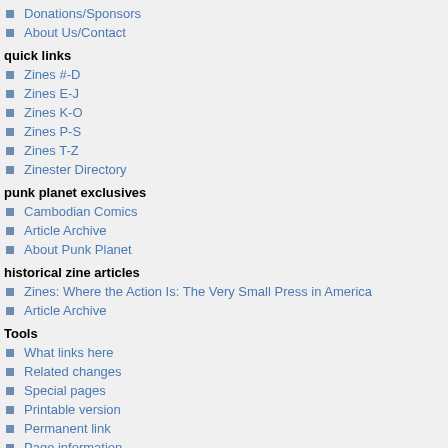Donations/Sponsors
About Us/Contact
quick links
Zines #-D
Zines E-J
Zines K-O
Zines P-S
Zines T-Z
Zinester Directory
punk planet exclusives
Cambodian Comics
Article Archive
About Punk Planet
historical zine articles
Zines: Where the Action Is: The Very Small Press in America
Article Archive
Tools
What links here
Related changes
Special pages
Printable version
Permanent link
Page information